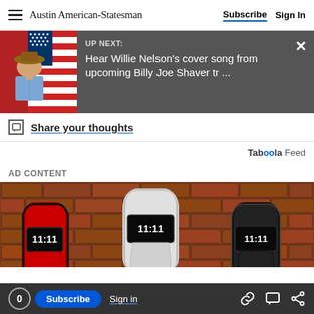Austin American-Statesman  Subscribe  Sign In
[Figure (screenshot): UP NEXT: Hear Willie Nelson's cover song from upcoming Billy Joe Shaver tr ... - promotional banner with photo of man in cowboy hat in front of American flag]
Share your thoughts
[Figure (logo): Taboola Feed logo]
AD CONTENT
[Figure (photo): Three fitness tracker smart bands (red, white/silver, black) displayed against a brick wall background]